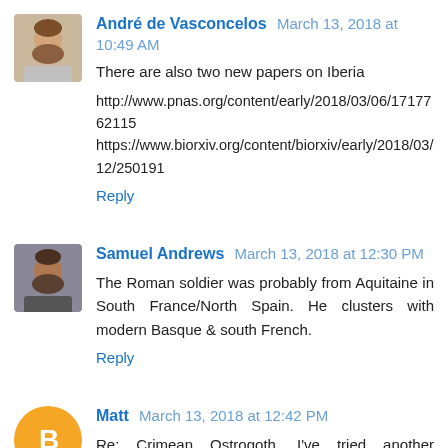André de Vasconcelos  March 13, 2018 at 10:49 AM
There are also two new papers on Iberia
http://www.pnas.org/content/early/2018/03/06/1717762115
https://www.biorxiv.org/content/biorxiv/early/2018/03/12/250191
Reply
Samuel Andrews  March 13, 2018 at 12:30 PM
The Roman soldier was probably from Aquitaine in South France/North Spain. He clusters with modern Basque & south French.
Reply
Matt  March 13, 2018 at 12:42 PM
Re: Crimean Ostrogoth, I've tried another procedure, which should allow using nMonte in a semi-supervised way to get at the target's ancestry.